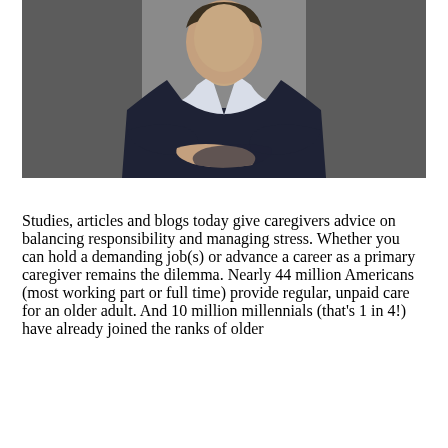[Figure (photo): A man in a dark navy suit with arms crossed, wearing a white shirt, photographed from approximately chest level up against a neutral grey background. Professional headshot/portrait style.]
Studies, articles and blogs today give caregivers advice on balancing responsibility and managing stress. Whether you can hold a demanding job(s) or advance a career as a primary caregiver remains the dilemma. Nearly 44 million Americans (most working part or full time) provide regular, unpaid care for an older adult. And 10 million millennials (that's 1 in 4!) have already joined the ranks of older